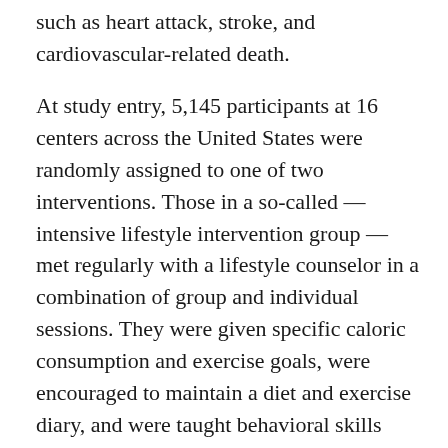such as heart attack, stroke, and cardiovascular-related death.
At study entry, 5,145 participants at 16 centers across the United States were randomly assigned to one of two interventions. Those in a so-called — intensive lifestyle intervention group — met regularly with a lifestyle counselor in a combination of group and individual sessions. They were given specific caloric consumption and exercise goals, were encouraged to maintain a diet and exercise diary, and were taught behavioral skills such as problem solving and goal setting. After the first year, participants were seen individually at least once monthly, had at least one additional phone or email contact each month, and were invited to attend additional group classes. Those in the — diabetes support and education group — were invited to group sessions each year focused on diet, physical activity, or social support. They were not